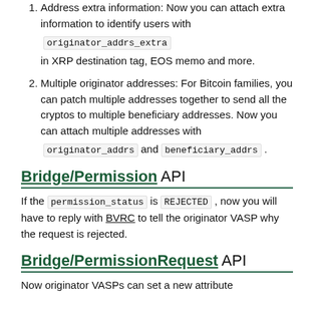Address extra information: Now you can attach extra information to identify users with originator_addrs_extra in XRP destination tag, EOS memo and more.
Multiple originator addresses: For Bitcoin families, you can patch multiple addresses together to send all the cryptos to multiple beneficiary addresses. Now you can attach multiple addresses with originator_addrs and beneficiary_addrs.
Bridge/Permission API
If the permission_status is REJECTED , now you will have to reply with BVRC to tell the originator VASP why the request is rejected.
Bridge/PermissionRequest API
Now originator VASPs can set a new attribute